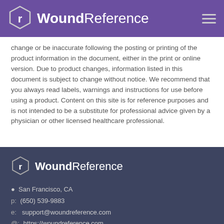WoundReference
change or be inaccurate following the posting or printing of the product information in the document, either in the print or online version. Due to product changes, information listed in this document is subject to change without notice. We recommend that you always read labels, warnings and instructions for use before using a product. Content on this site is for reference purposes and is not intended to be a substitute for professional advice given by a physician or other licensed healthcare professional.
WoundReference
San Francisco, CA
p: (650) 539-9883
e: support@woundreference.com
@: https://woundreference.com
Schedule Meeting